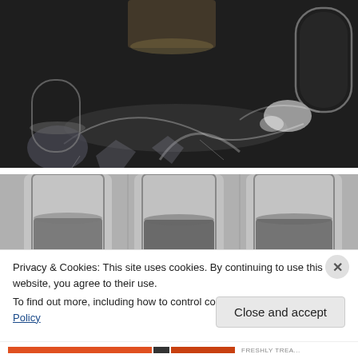[Figure (photo): Dark moody overhead photo of glassware on a dark reflective surface with light reflections and bokeh effects]
[Figure (photo): Black and white photo of three tall glasses with liquid, viewed from front]
Privacy & Cookies: This site uses cookies. By continuing to use this website, you agree to their use.
To find out more, including how to control cookies, see here: Cookie Policy
Close and accept